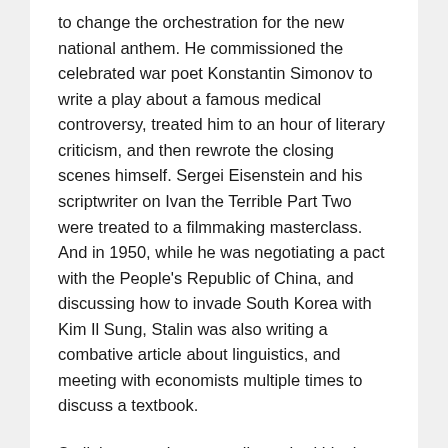to change the orchestration for the new national anthem. He commissioned the celebrated war poet Konstantin Simonov to write a play about a famous medical controversy, treated him to an hour of literary criticism, and then rewrote the closing scenes himself. Sergei Eisenstein and his scriptwriter on Ivan the Terrible Part Two were treated to a filmmaking masterclass. And in 1950, while he was negotiating a pact with the People's Republic of China, and discussing how to invade South Korea with Kim Il Sung, Stalin was also writing a combative article about linguistics, and meeting with economists multiple times to discuss a textbook.
Stalin's paranoia eventually pushed him into pronouncements that were more and more peculiar. Unable to trust even himself, it came to Joseph Stalin that people were, or ought to be, completely readable from first to last. All it needed was an entirely verbal theory of mind. 'There is nothing in the human being which cannot be verbalised,' he asserted, in 1949. 'What a person hides from himself he hides from society. There is nothing in the